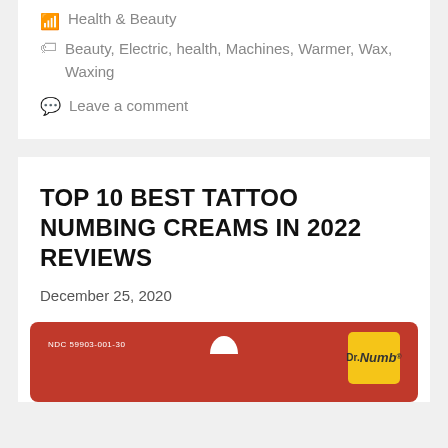Health & Beauty
Beauty, Electric, health, Machines, Warmer, Wax, Waxing
Leave a comment
TOP 10 BEST TATTOO NUMBING CREAMS IN 2022 REVIEWS
December 25, 2020
[Figure (photo): Product packaging for Dr. Numb tattoo numbing cream on a red background with a hanger hole cutout]